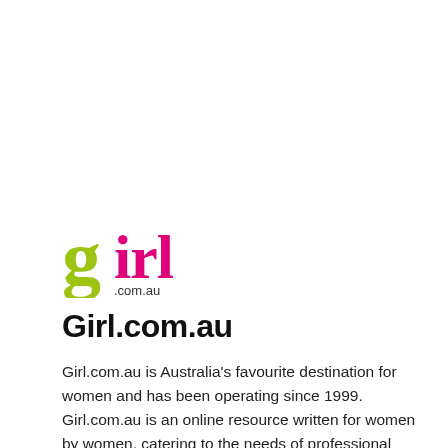[Figure (logo): Girl.com.au logo with a large lime-green lowercase 'g' and hot-pink 'irl' text, with '.com.au' in dark gray below]
Girl.com.au
Girl.com.au is Australia's favourite destination for women and has been operating since 1999. Girl.com.au is an online resource written for women by women, catering to the needs of professional girls 12-38 and has constantly rated amongst the top Australian web sites specifically developed for women.